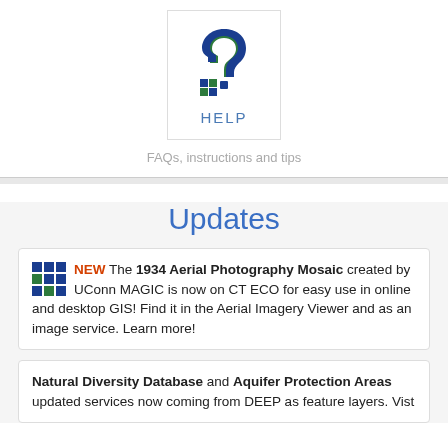[Figure (logo): HELP icon with blue and green question mark and small blue squares, labeled HELP in blue letters]
FAQs, instructions and tips
Updates
NEW The 1934 Aerial Photography Mosaic created by UConn MAGIC is now on CT ECO for easy use in online and desktop GIS! Find it in the Aerial Imagery Viewer and as an image service. Learn more!
Natural Diversity Database and Aquifer Protection Areas updated services now coming from DEEP as feature layers. Vist